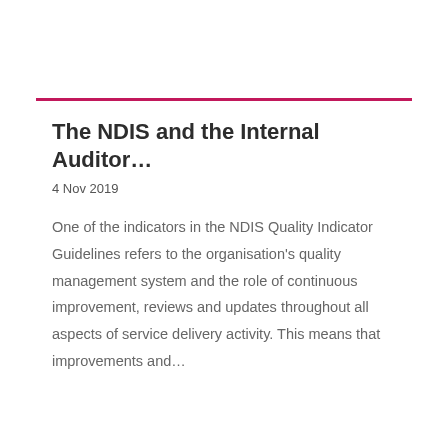The NDIS and the Internal Auditor…
4 Nov 2019
One of the indicators in the NDIS Quality Indicator Guidelines refers to the organisation's quality management system and the role of continuous improvement, reviews and updates throughout all aspects of service delivery activity. This means that improvements and…